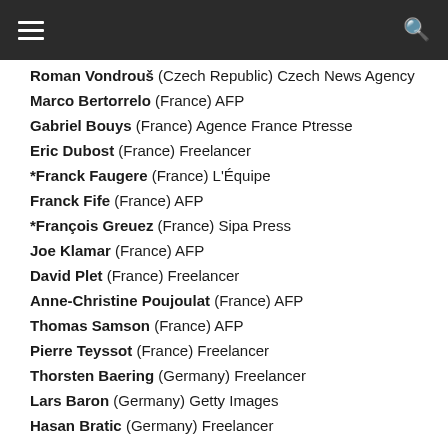Roman Vondrouš (Czech Republic) Czech News Agency
Marco Bertorrelo (France) AFP
Gabriel Bouys (France) Agence France Ptresse
Eric Dubost (France) Freelancer
*Franck Faugere (France) L'Équipe
Franck Fife (France) AFP
*François Greuez (France) Sipa Press
Joe Klamar (France) AFP
David Plet (France) Freelancer
Anne-Christine Poujoulat (France) AFP
Thomas Samson (France) AFP
Pierre Teyssot (France) Freelancer
Thorsten Baering (Germany) Freelancer
Lars Baron (Germany) Getty Images
Hasan Bratic (Germany) Freelancer